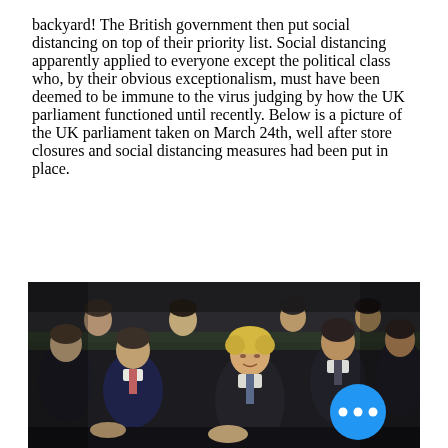backyard! The British government then put social distancing on top of their priority list. Social distancing apparently applied to everyone except the political class who, by their obvious exceptionalism, must have been deemed to be immune to the virus judging by how the UK parliament functioned until recently. Below is a picture of the UK parliament taken on March 24th, well after store closures and social distancing measures had been put in place.
[Figure (photo): Photo of the UK parliament chamber showing Boris Johnson and other politicians seated closely together without social distancing, taken on March 24th. A blue circular button with three white dots (ellipsis/more options) is overlaid in the bottom right corner of the image.]